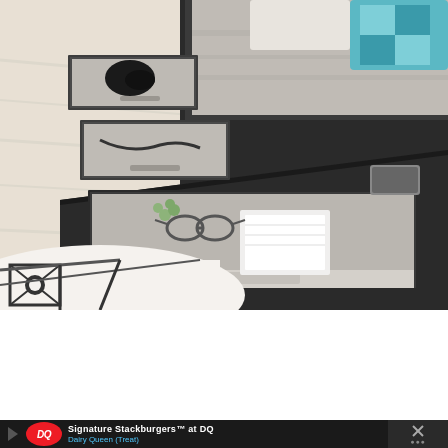[Figure (photo): A bedroom photo showing a dark platform bed with multiple open storage drawers extending from the side of the bed frame. The drawers contain various items including glasses, books, and small objects. The floor is light wood. A white geometric patterned rug is visible in the lower left. The bedding is gray, and a teal/blue patterned pillow is visible in the upper right. A small device (phone or remote) is visible on the platform.]
[Figure (screenshot): An advertisement banner for Dairy Queen at the bottom of the page. Features a red DQ logo, text 'Signature Stackburgers™ at DQ' in white, 'Dairy Queen (Treat)' in blue, a blue circular arrow icon, and a close button with an X on the right side against a dark background.]